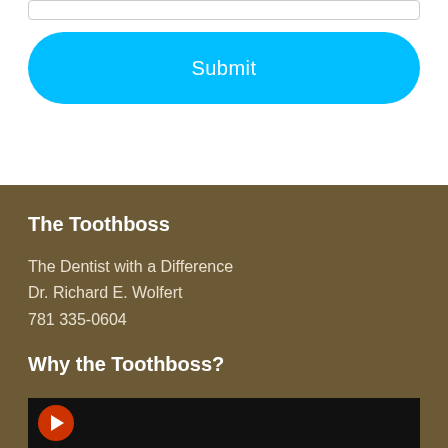[input field]
Submit
The Toothboss
The Dentist with a Difference
Dr. Richard E. Wolfert
781 335-0604
Why the Toothboss?
[Figure (screenshot): Video thumbnail with dark background and orange/red play button circle at bottom of the page]